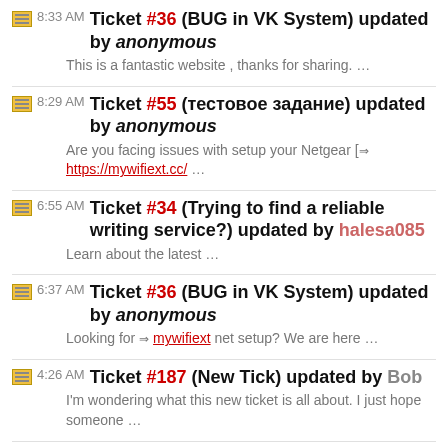8:33 AM Ticket #36 (BUG in VK System) updated by anonymous
This is a fantastic website , thanks for sharing. …
8:29 AM Ticket #55 (тестовое задание) updated by anonymous
Are you facing issues with setup your Netgear [⇒ https://mywifiext.cc/ …
6:55 AM Ticket #34 (Trying to find a reliable writing service?) updated by halesa085
Learn about the latest …
6:37 AM Ticket #36 (BUG in VK System) updated by anonymous
Looking for ⇒ mywifiext net setup? We are here …
4:26 AM Ticket #187 (New Tick) updated by Bob
I'm wondering what this new ticket is all about. I just hope someone …
4:09 AM Ticket #537 (HD Streamz sssAPK Mod No ads – Live broadcast TV) created by HDStreamz
HD Streamz allows you to watch live TV…